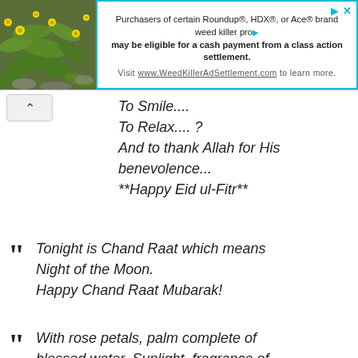[Figure (infographic): Advertisement banner: green plant with yellow flowers image on left, teal-bordered ad box on right reading 'Purchasers of certain Roundup®, HDX®, or Ace® brand weed killer products may be eligible for a cash payment from a class action settlement. Visit www.WeedKillerAdSettlement.com to learn more.']
To Smile....
To Relax.... ?
And to thank Allah for His benevolence...
**Happy Eid ul-Fitr**
Tonight is Chand Raat which means Night of the Moon.
Happy Chand Raat Mubarak!
With rose petals, palm complete of blessed water. Sunlight, fragrance of